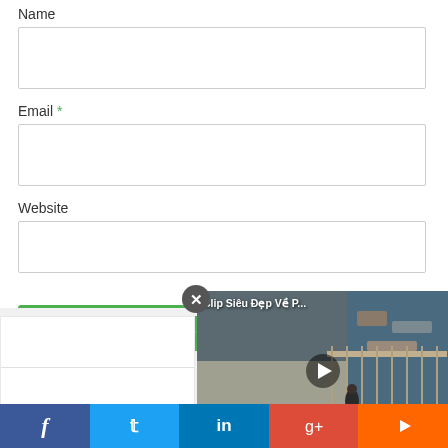Name
Email *
Website
Post Comment
[Figure (screenshot): Video overlay showing 'Clip Siêu Đẹp Về P...' with a play button over a road/harbor scene]
[Figure (screenshot): Social media share bar with Facebook, Twitter, LinkedIn, Google+, and YouTube icons]